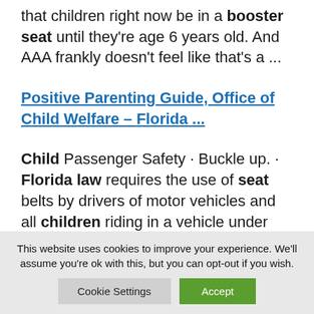that children right now be in a booster seat until they're age 6 years old. And AAA frankly doesn't feel like that's a ...
Positive Parenting Guide, Office of Child Welfare – Florida ...
Child Passenger Safety · Buckle up. · Florida law requires the use of seat belts by drivers of motor vehicles and all children riding in a vehicle under the age
This website uses cookies to improve your experience. We'll assume you're ok with this, but you can opt-out if you wish.
Cookie Settings
Accept